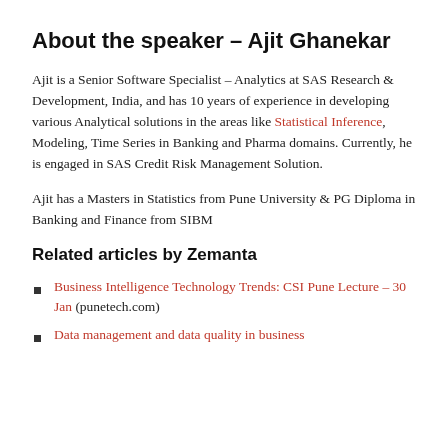About the speaker – Ajit Ghanekar
Ajit is a Senior Software Specialist – Analytics at SAS Research & Development, India, and has 10 years of experience in developing various Analytical solutions in the areas like Statistical Inference, Modeling, Time Series in Banking and Pharma domains. Currently, he is engaged in SAS Credit Risk Management Solution.
Ajit has a Masters in Statistics from Pune University & PG Diploma in Banking and Finance from SIBM
Related articles by Zemanta
Business Intelligence Technology Trends: CSI Pune Lecture – 30 Jan (punetech.com)
Data management and data quality in business